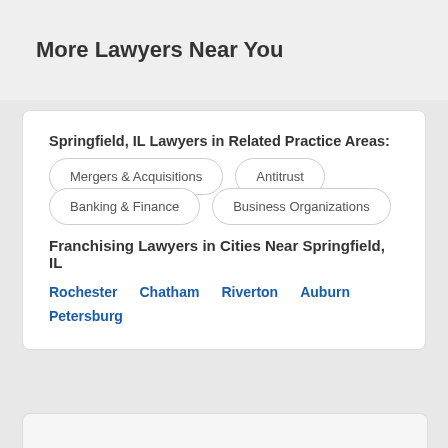More Lawyers Near You
Springfield, IL Lawyers in Related Practice Areas:
Mergers & Acquisitions
Antitrust
Banking & Finance
Business Organizations
Franchising Lawyers in Cities Near Springfield, IL
Rochester
Chatham
Riverton
Auburn
Petersburg